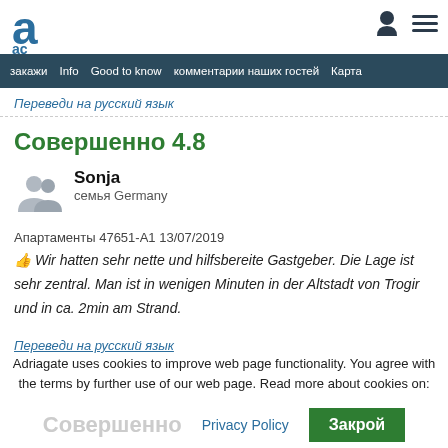[Figure (logo): Adriagate logo - large letter 'a' with 'ac' below in dark blue]
закажи | Info | Good to know | комментарии наших гостей | Карта
Переведи на русский язык
Совершенно 4.8
[Figure (illustration): Grey silhouette of two people (family icon)]
Sonja
семья Germany
Апартаменты 47651-A1 13/07/2019
👍 Wir hatten sehr nette und hilfsbereite Gastgeber. Die Lage ist sehr zentral. Man ist in wenigen Minuten in der Altstadt von Trogir und in ca. 2min am Strand.
Переведи на русский язык
Adriagate uses cookies to improve web page functionality. You agree with the terms by further use of our web page. Read more about cookies on:
Совершенно
Privacy Policy
Закрой